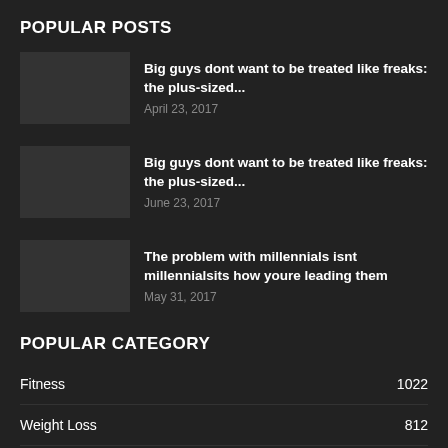POPULAR POSTS
Big guys dont want to be treated like freaks: the plus-sized... | April 23, 2017
Big guys dont want to be treated like freaks: the plus-sized... | June 23, 2017
The problem with millennials isnt millennialsits how youre leading them | May 31, 2017
POPULAR CATEGORY
| Category | Count |
| --- | --- |
| Fitness | 1022 |
| Weight Loss | 812 |